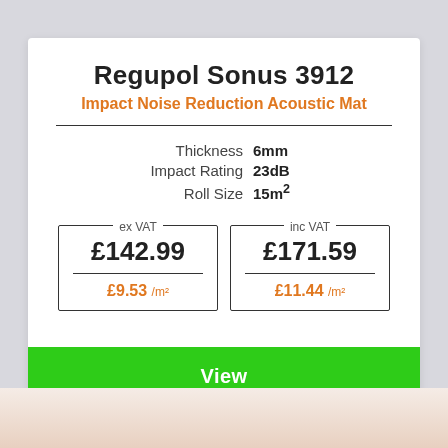Regupol Sonus 3912
Impact Noise Reduction Acoustic Mat
| Property | Value |
| --- | --- |
| Thickness | 6mm |
| Impact Rating | 23dB |
| Roll Size | 15m² |
ex VAT £142.99 £9.53 /m²
inc VAT £171.59 £11.44 /m²
View